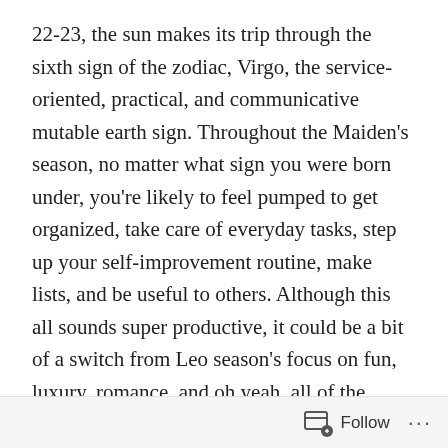22-23, the sun makes its trip through the sixth sign of the zodiac, Virgo, the service-oriented, practical, and communicative mutable earth sign. Throughout the Maiden's season, no matter what sign you were born under, you're likely to feel pumped to get organized, take care of everyday tasks, step up your self-improvement routine, make lists, and be useful to others. Although this all sounds super productive, it could be a bit of a switch from Leo season's focus on fun, luxury, romance, and oh yeah, all of the filtered selfies. But if all the back-to-school buzz didn't give it away, summer is winding down, which goes hand-in-hand with this astrological transition.
And while it might not be all about stepping into your power and channeling your inner Mufasa to roar your
Follow ···